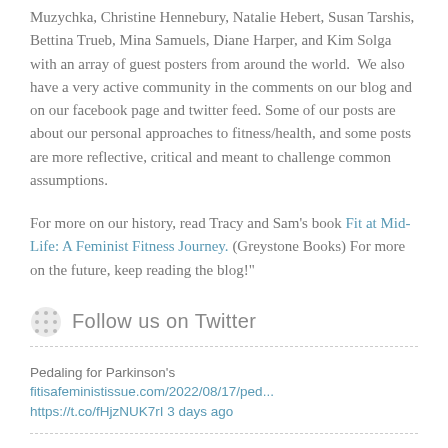Muzychka, Christine Hennebury, Natalie Hebert, Susan Tarshis, Bettina Trueb, Mina Samuels, Diane Harper, and Kim Solga with an array of guest posters from around the world.  We also have a very active community in the comments on our blog and on our facebook page and twitter feed. Some of our posts are about our personal approaches to fitness/health, and some posts are more reflective, critical and meant to challenge common assumptions.
For more on our history, read Tracy and Sam's book Fit at Mid-Life: A Feminist Fitness Journey. (Greystone Books) For more on the future, keep reading the blog!"
Follow us on Twitter
Pedaling for Parkinson's fitisafeministissue.com/2022/08/17/ped... https://t.co/fHjzNUK7rI 3 days ago
Will global warming change the seasons which we ride?